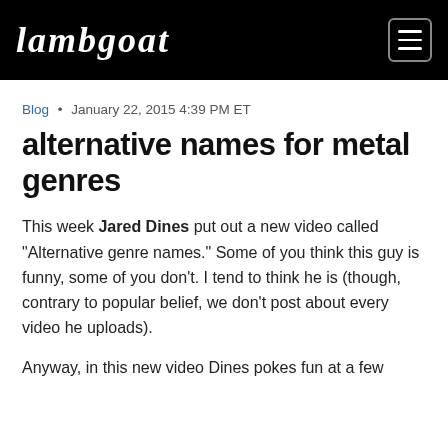Lambgoat
Blog • January 22, 2015 4:39 PM ET
alternative names for metal genres
This week Jared Dines put out a new video called "Alternative genre names." Some of you think this guy is funny, some of you don't. I tend to think he is (though, contrary to popular belief, we don't post about every video he uploads).
Anyway, in this new video Dines pokes fun at a few